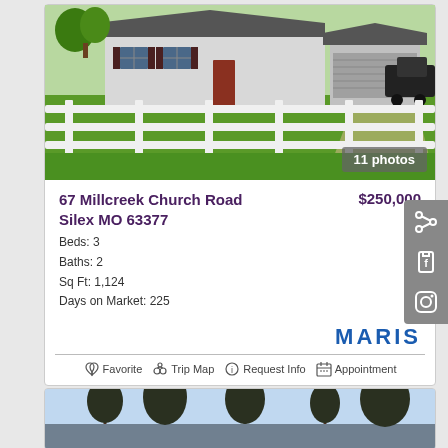[Figure (photo): Exterior photo of a single-story ranch-style house with white vinyl fence in foreground, green lawn, attached garage, gray roof. '11 photos' badge in lower right.]
67 Millcreek Church Road   $250,000
Silex MO 63377
Beds: 3
Baths: 2
Sq Ft: 1,124
Days on Market: 225
[Figure (logo): MARIS logo in blue bold capital letters]
Favorite   Trip Map   Request Info   Appointment
[Figure (photo): Partial exterior photo of another property, trees visible against light sky]